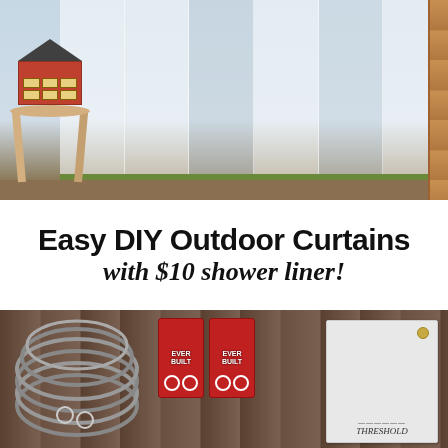[Figure (photo): Outdoor curtain made from a white sheer/translucent shower liner hanging on a porch, with a birdhouse on a wooden stool in the foreground and wooden deck railing on the right]
Easy DIY Outdoor Curtains with $10 shower liner!
[Figure (photo): Flat lay of DIY supplies on a wood surface: a coiled wire/cable, two red Everbilt packages of curtain rings, and a white Threshold shower liner package with a brass grommet visible]